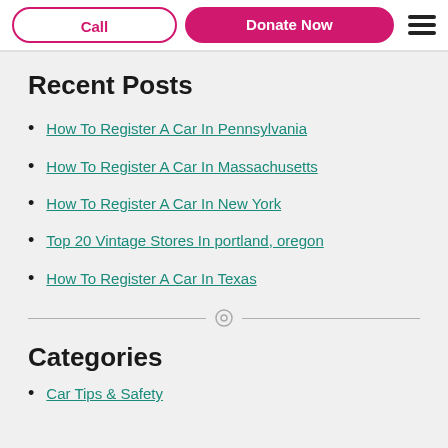Call | Donate Now
Recent Posts
How To Register A Car In Pennsylvania
How To Register A Car In Massachusetts
How To Register A Car In New York
Top 20 Vintage Stores In portland, oregon
How To Register A Car In Texas
Categories
Car Tips & Safety